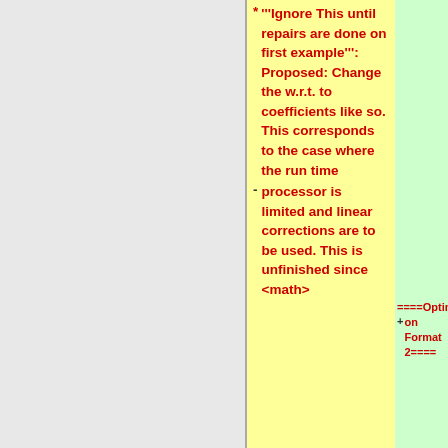* '''Ignore This until repairs are done on first example''': Proposed: Change the w.r.t. to coefficients like so. This corresponds to the case where the run time - processor is limited and linear corrections are to be used. This is unfinished since <math>
+ ====Optimization Format 2====